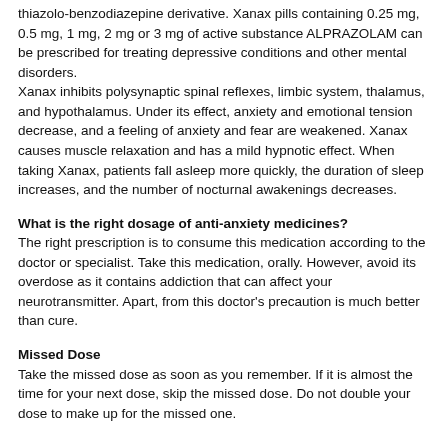thiazolo-benzodiazepine derivative. Xanax pills containing 0.25 mg, 0.5 mg, 1 mg, 2 mg or 3 mg of active substance ALPRAZOLAM can be prescribed for treating depressive conditions and other mental disorders. Xanax inhibits polysynaptic spinal reflexes, limbic system, thalamus, and hypothalamus. Under its effect, anxiety and emotional tension decrease, and a feeling of anxiety and fear are weakened. Xanax causes muscle relaxation and has a mild hypnotic effect. When taking Xanax, patients fall asleep more quickly, the duration of sleep increases, and the number of nocturnal awakenings decreases.
What is the right dosage of anti-anxiety medicines?
The right prescription is to consume this medication according to the doctor or specialist. Take this medication, orally. However, avoid its overdose as it contains addiction that can affect your neurotransmitter. Apart, from this doctor's precaution is much better than cure.
Missed Dose
Take the missed dose as soon as you remember. If it is almost the time for your next dose, skip the missed dose. Do not double your dose to make up for the missed one.